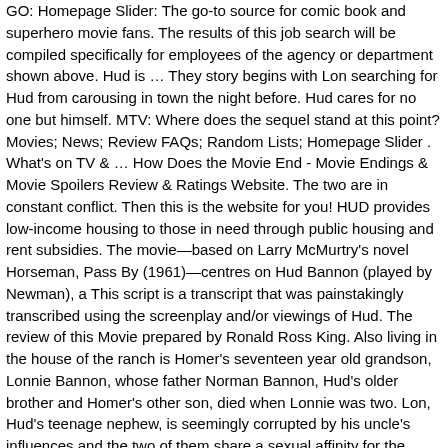GO: Homepage Slider: The go-to source for comic book and superhero movie fans. The results of this job search will be compiled specifically for employees of the agency or department shown above. Hud is … They story begins with Lon searching for Hud from carousing in town the night before. Hud cares for no one but himself. MTV: Where does the sequel stand at this point? Movies; News; Review FAQs; Random Lists; Homepage Slider . What's on TV & … How Does the Movie End - Movie Endings & Movie Spoilers Review & Ratings Website. The two are in constant conflict. Then this is the website for you! HUD provides low-income housing to those in need through public housing and rent subsidies. The movie—based on Larry McMurtry's novel Horseman, Pass By (1961)—centres on Hud Bannon (played by Newman), a This script is a transcript that was painstakingly transcribed using the screenplay and/or viewings of Hud. The review of this Movie prepared by Ronald Ross King. Also living in the house of the ranch is Homer's seventeen year old grandson, Lonnie Bannon, whose father Norman Bannon, Hud's older brother and Homer's other son, died when Lonnie was two. Lon, Hud's teenage nephew, is seemingly corrupted by his uncle's influences and the two of them share a sexual affinity for the family's housekeeper, Alma. I've never seen you in a pair of shoes since you have work here. Hud (1963) cast and crew credits, including actors, actresses, directors, writers and more. What happened to Lonnie's father, Hud's brother, hangs over the family, but nobody dares speak about it. His son, Hud, is quite the opposite - amoral,